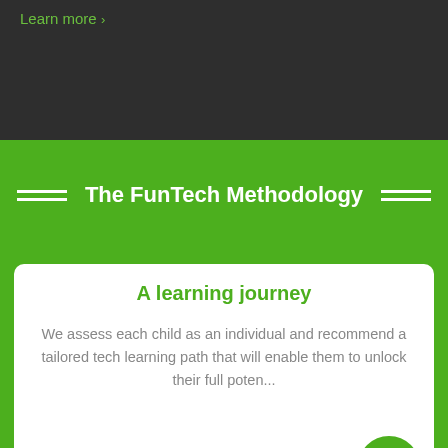Learn more >
The FunTech Methodology
A learning journey
We assess each child as an individual and recommend a tailored tech learning path that will enable them to unlock their full potential.